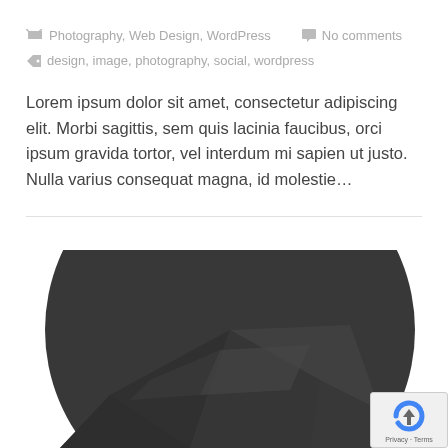Photography, Web Design, WordPress   No comments
design, image, photography, social, wordpress
Lorem ipsum dolor sit amet, consectetur adipiscing elit. Morbi sagittis, sem quis lacinia faucibus, orci ipsum gravida tortor, vel interdum mi sapien ut justo. Nulla varius consequat magna, id molestie…
[Figure (illustration): Large dark circular shape with geometric faceted pattern visible in lower portion, resembling a dark gemstone or abstract sphere. In the bottom-right corner is a reCAPTCHA badge showing the reCAPTCHA logo, upward arrow icon, and 'Privacy - Terms' text.]